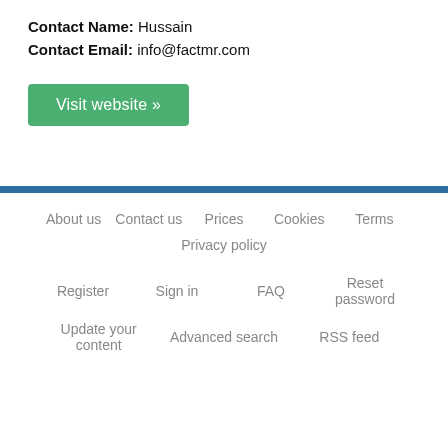Contact Name: Hussain
Contact Email: info@factmr.com
Visit website »
About us   Contact us   Prices   Cookies   Terms   Privacy policy   Register   Sign in   FAQ   Reset password   Update your content   Advanced search   RSS feed